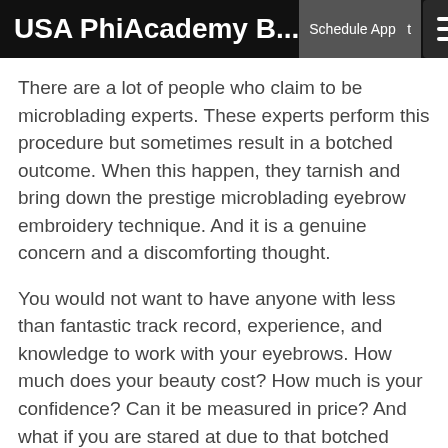USA PhiAcademy B... Schedule App t
There are a lot of people who claim to be microblading experts. These experts perform this procedure but sometimes result in a botched outcome. When this happen, they tarnish and bring down the prestige microblading eyebrow embroidery technique. And it is a genuine concern and a discomforting thought.
You would not want to have anyone with less than fantastic track record, experience, and knowledge to work with your eyebrows. How much does your beauty cost? How much is your confidence? Can it be measured in price? And what if you are stared at due to that botched procedure done on you by a less than amazing